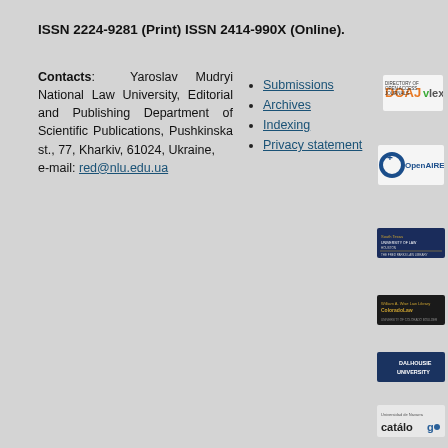ISSN 2224-9281 (Print) ISSN 2414-990X (Online).
Contacts: Yaroslav Mudryi National Law University, Editorial and Publishing Department of Scientific Publications, Pushkinska st., 77, Kharkiv, 61024, Ukraine, e-mail: red@nlu.edu.ua
Submissions
Archives
Indexing
Privacy statement
[Figure (logo): DOAJ Directory of Open Access Journals logo]
[Figure (logo): vlex logo]
[Figure (logo): OpenAIRE logo]
[Figure (logo): South Texas University of Law - The Fred Parks Law Library logo]
[Figure (logo): William A. Wise Law Library Colorado Law logo]
[Figure (logo): Dalhousie University logo]
[Figure (logo): Universidad de Navarra catalogo logo]